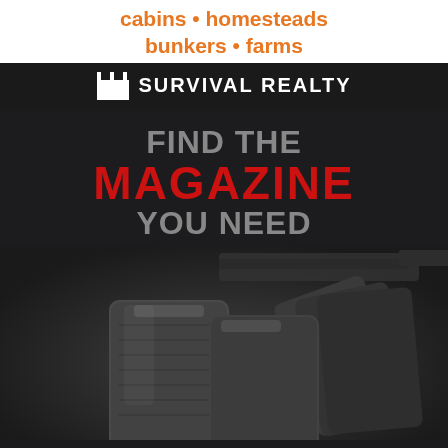[Figure (illustration): Survival Realty advertisement with orange text 'cabins • homesteads bunkers • farms' on white background, and black bar with castle icon and 'SURVIVAL REALTY' text]
[Figure (illustration): GunMag Warehouse advertisement with dark background, text 'FIND THE MAGAZINE YOU NEED', photo of gun magazines, and GunMag Warehouse.com logo]
[Figure (logo): Elk Creek circular logo at bottom, dark brown with white text 'ELK CREEK']